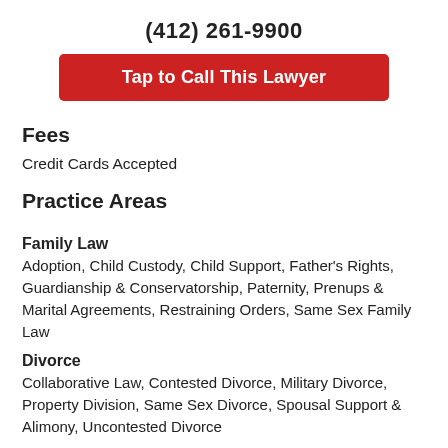(412) 261-9900
Tap to Call This Lawyer
Fees
Credit Cards Accepted
Practice Areas
Family Law
Adoption, Child Custody, Child Support, Father's Rights, Guardianship & Conservatorship, Paternity, Prenups & Marital Agreements, Restraining Orders, Same Sex Family Law
Divorce
Collaborative Law, Contested Divorce, Military Divorce, Property Division, Same Sex Divorce, Spousal Support & Alimony, Uncontested Divorce